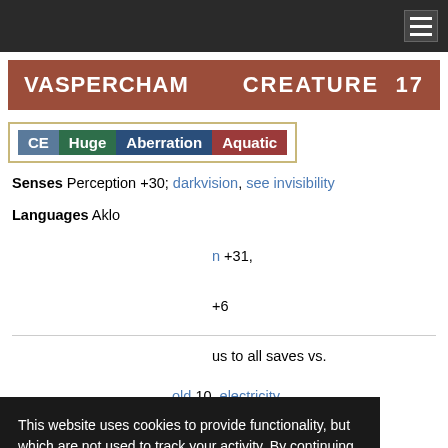Navigation bar with hamburger menu
VASPERCHAM   CREATURE 17
CE Huge Aberration Aquatic
Senses Perception +30; darkvision, see invisibility
Languages Aklo
This website uses cookies to provide functionality, but which are not used to track your activity. By continuing to use this site, you agree to the use of these cookies.

However, in addition to this, you may opt into your activity being tracked in order to help us improve our service.

For more information, please click here
+31,
+6
us to all saves vs.
old 10, electricity
utation) 30 feet.. Any creature in